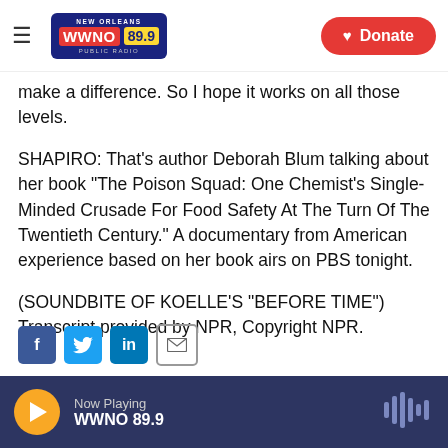NEW ORLEANS WWNO 89.9 PUBLIC RADIO | Donate
make a difference. So I hope it works on all those levels.
SHAPIRO: That's author Deborah Blum talking about her book "The Poison Squad: One Chemist's Single-Minded Crusade For Food Safety At The Turn Of The Twentieth Century." A documentary from American experience based on her book airs on PBS tonight.
(SOUNDBITE OF KOELLE'S "BEFORE TIME") Transcript provided by NPR, Copyright NPR.
Now Playing WWNO 89.9